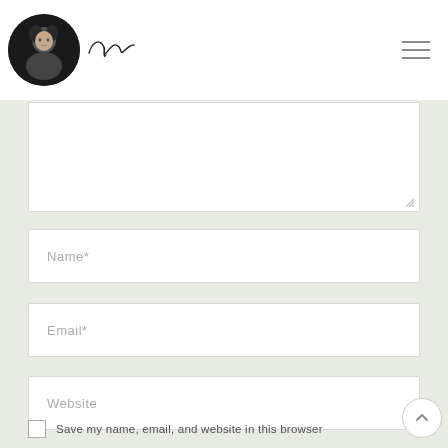Personal blog header with avatar photo and signature logo, hamburger menu
[Figure (screenshot): A comment/contact form section showing a textarea (partially visible at top), Name* input field, Email* input field, Website input field, and a checkbox with label 'Save my name, email, and website in this browser']
Name*
Email*
Website
Save my name, email, and website in this browser